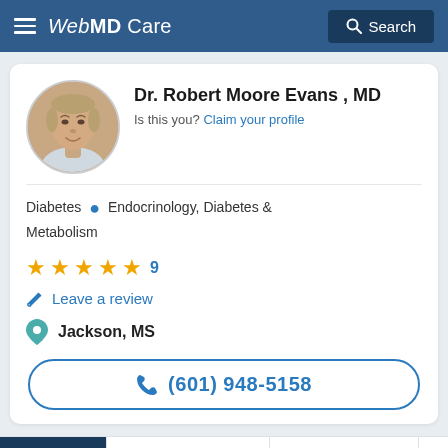WebMD Care  Search
Dr. Robert Moore Evans , MD
Is this you? Claim your profile
Diabetes  •  Endocrinology, Diabetes & Metabolism
★★★★★ 9
Leave a review
Jackson, MS
(601) 948-5158
OVERVIEW   RATINGS & REVIEWS   LOCATIONS   EX